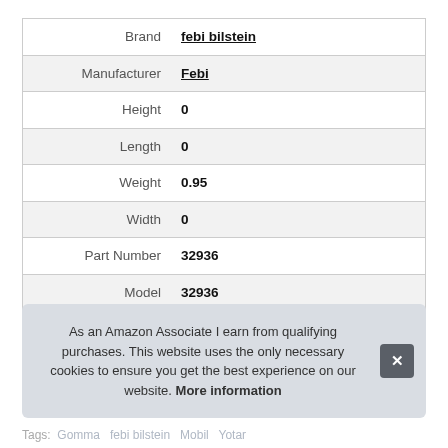|  |  |
| --- | --- |
| Brand | febi bilstein |
| Manufacturer | Febi |
| Height | 0 |
| Length | 0 |
| Weight | 0.95 |
| Width | 0 |
| Part Number | 32936 |
| Model | 32936 |
As an Amazon Associate I earn from qualifying purchases. This website uses the only necessary cookies to ensure you get the best experience on our website. More information
Tags: Gomma febi bilstein Mobi Yotar